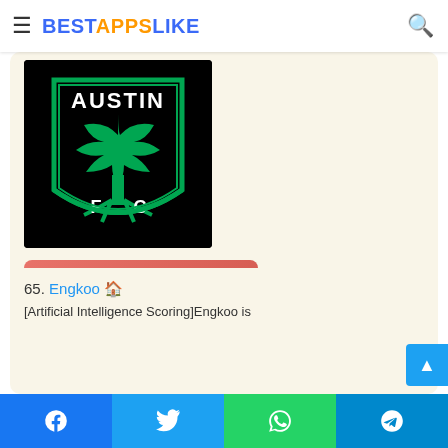BESTAPPSLIKE
[Figure (logo): Austin FC soccer club logo — black shield with green tree and 'AUSTIN' text at top, 'F C' at bottom]
Similarity Rate : 18 %
Similar Apps
65. Engkoo 🏠
[Artificial Intelligence Scoring]Engkoo is